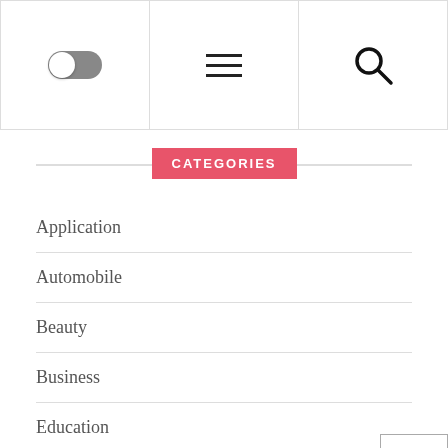[Figure (screenshot): Navigation bar with toggle switch, hamburger menu icon, and search icon]
CATEGORIES
Application
Automobile
Beauty
Business
Education
Entertainment